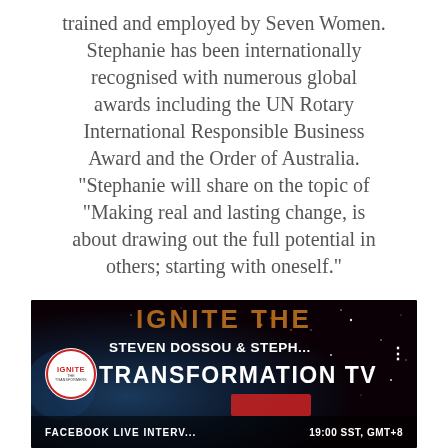trained and employed by Seven Women. Stephanie has been internationally recognised with numerous global awards including the UN Rotary International Responsible Business Award and the Order of Australia. "Stephanie will share on the topic of "Making real and lasting change, is about drawing out the full potential in others; starting with oneself."
[Figure (screenshot): Screenshot of a Facebook Live video thumbnail for 'Ignite the Transformation TV' featuring Steven Dossou & Steph..., with the Ignite logo, gold/orange title text, and a dark cosmic background. Bottom bar shows 'FACEBOOK LIVE INTERV...' and '19:00 SST, GMT+8'.]